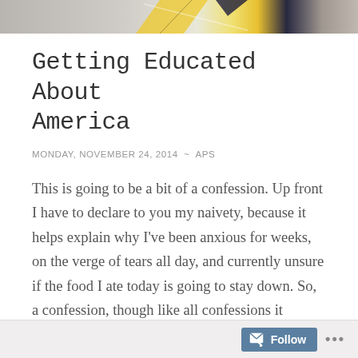[Figure (illustration): Decorative header image with abstract geometric shapes in yellow, navy, and gray tones]
Getting Educated About America
MONDAY, NOVEMBER 24, 2014  ~  APS
This is going to be a bit of a confession. Up front I have to declare to you my naivety, because it helps explain why I've been anxious for weeks, on the verge of tears all day, and currently unsure if the food I ate today is going to stay down. So, a confession, though like all confessions it obscures a kind of cunning even I may be the target of.
Follow ...